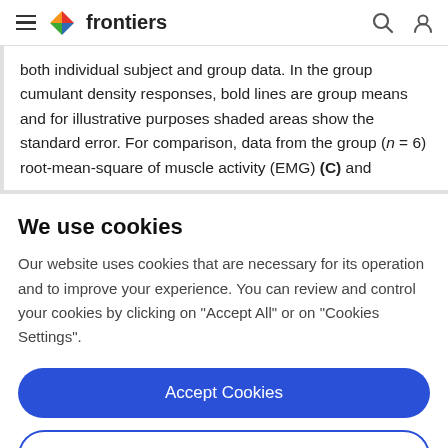frontiers
both individual subject and group data. In the group cumulant density responses, bold lines are group means and for illustrative purposes shaded areas show the standard error. For comparison, data from the group (n = 6) root-mean-square of muscle activity (EMG) (C) and
We use cookies
Our website uses cookies that are necessary for its operation and to improve your experience. You can review and control your cookies by clicking on "Accept All" or on "Cookies Settings".
Accept Cookies
Cookies Settings